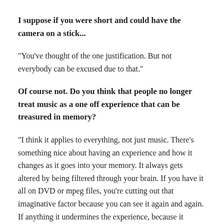I suppose if you were short and could have the camera on a stick...
"You've thought of the one justification. But not everybody can be excused due to that."
Of course not. Do you think that people no longer treat music as a one off experience that can be treasured in memory?
"I think it applies to everything, not just music. There's something nice about having an experience and how it changes as it goes into your memory. It always gets altered by being filtered through your brain. If you have it all on DVD or mpeg files, you're cutting out that imaginative factor because you can see it again and again. If anything it undermines the experience, because it seemed like a really good moment, and now I can see it were crap. It's like wedding videos. A wedding should be a magical day because of the